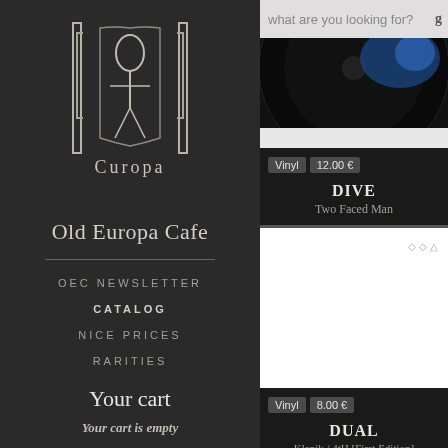[Figure (logo): Old Europa Cafe stylized logo with architectural/figure motif in beige on dark background, text 'Curopa' at bottom of logo image]
Old Europa Cafe
OEC NEWSLETTER
CATALOG
NICE PRICES
RARITIES
Your cart
Your cart is empty
what are you looking for?
[Figure (photo): Partial vinyl record image with blue/black tones, top portion visible]
Vinyl  12.00 €
DIVE
Two Faced Man
[Figure (photo): White/blank product image placeholder with small icons in top right corner]
Vinyl  8.00 €
DUAL
Klanik / 4tH [First Edition]